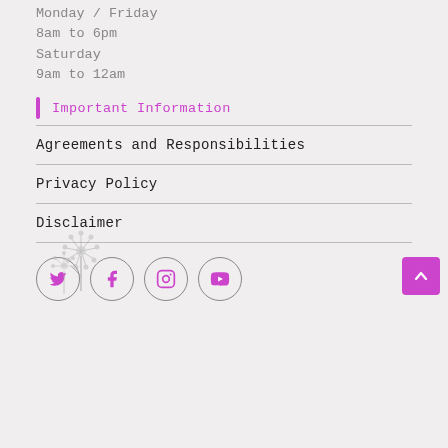Monday / Friday
8am to 6pm
Saturday
9am to 12am
Important Information
Agreements and Responsibilities
Privacy Policy
Disclaimer
[Figure (other): Social media icons in circles: Twitter, Facebook, Instagram, YouTube]
[Figure (illustration): Dandelion flower illustration in light grey]
[Figure (other): Scroll to top button (pink/magenta square with up arrow)]